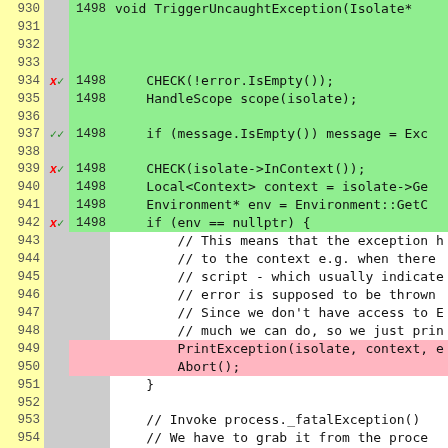[Figure (screenshot): Code diff viewer showing lines 930-955 of a C++ source file (TriggerUncaughtException function). Lines are color-coded: green for added/covered lines, pink for removed/uncovered lines, gray for unchanged. Left columns show line numbers, mutation markers (x/, //, empty), and version numbers (1498).]